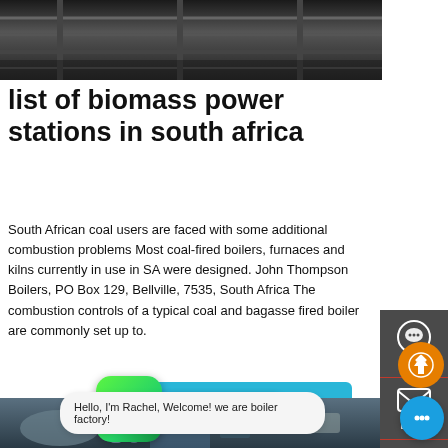[Figure (photo): Industrial conveyor/pipe ceiling interior photo, dark industrial setting]
list of biomass power stations in south africa
South African coal users are faced with some additional combustion problems Most coal-fired boilers, furnaces and kilns currently in use in SA were designed. John Thompson Boilers, PO Box 129, Bellville, 7535, South Africa The combustion controls of a typical coal and bagasse fired boiler are commonly set up to.
[Figure (screenshot): Learn More button (teal/cyan rounded rectangle)]
[Figure (photo): Industrial boiler factory floor with pipes, ventilation ducts, and large industrial equipment]
[Figure (screenshot): WhatsApp icon with green Contact us now! bubble overlay]
[Figure (screenshot): Dark sidebar with Chat, Email, Contact icons and orange scroll-to-top button]
Hello, I'm Rachel, Welcome! we are boiler factory!